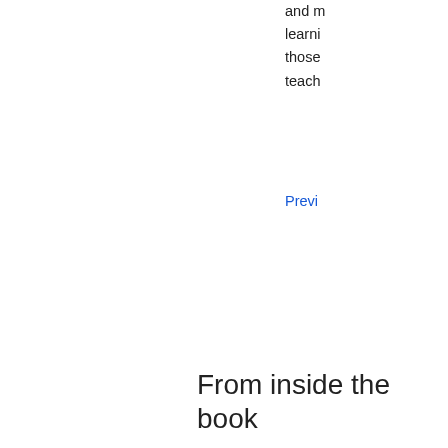and m... learni... those... teach...
Previ...
From inside the book
classroom
Search
Results 1-5 of 97
Page
... coach for the University of Washington's Small Schools Project, working with the Seattle Public Schools. In 1994 Best established Ohio